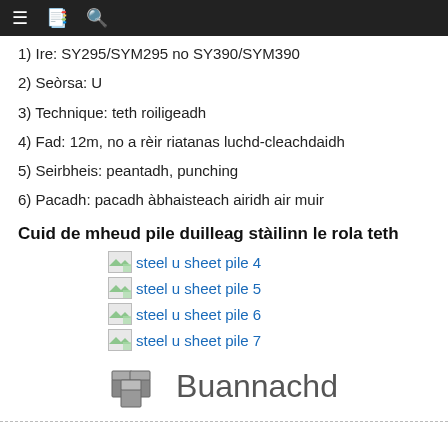≡ 📋 🔍
1) Ire: SY295/SYM295 no SY390/SYM390
2) Seòrsa: U
3) Technique: teth roiligeadh
4) Fad: 12m, no a rèir riatanas luchd-cleachdaidh
5) Seirbheis: peantadh, punching
6) Pacadh: pacadh àbhaisteach airidh air muir
Cuid de mheud pile duilleag stàilinn le rola teth
steel u sheet pile 4
steel u sheet pile 5
steel u sheet pile 6
steel u sheet pile 7
Buannachd